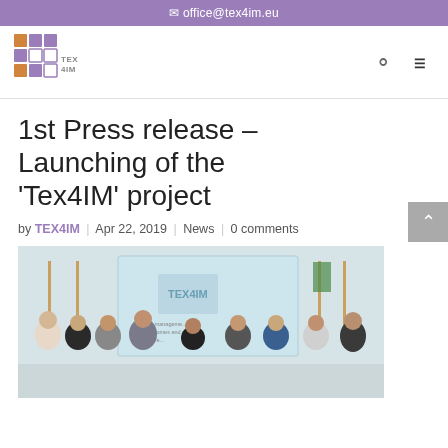office@tex4im.eu
[Figure (logo): TEX4IM logo with grid of orange and purple squares]
1st Press release – Launching of the 'Tex4IM' project
by TEX4IM | Apr 22, 2019 | News | 0 comments
[Figure (photo): Group photo of approximately 9 people standing in front of a TEX4IM project presentation screen in an office or conference room setting]